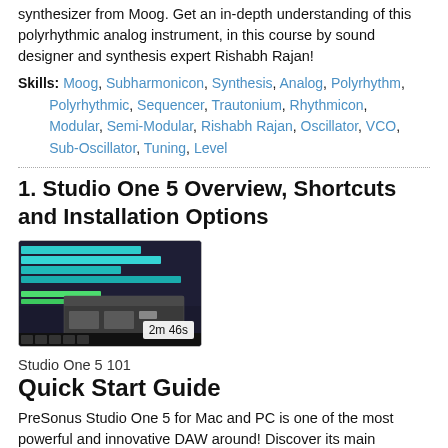synthesizer from Moog. Get an in-depth understanding of this polyrhythmic analog instrument, in this course by sound designer and synthesis expert Rishabh Rajan!
Skills: Moog, Subharmonicon, Synthesis, Analog, Polyrhythm, Polyrhythmic, Sequencer, Trautonium, Rhythmicon, Modular, Semi-Modular, Rishabh Rajan, Oscillator, VCO, Sub-Oscillator, Tuning, Level
1. Studio One 5 Overview, Shortcuts and Installation Options
[Figure (screenshot): Screenshot of Studio One 5 DAW interface showing colorful MIDI tracks and plugin window, with a time badge of 2m 46s]
Studio One 5 101
Quick Start Guide
PreSonus Studio One 5 for Mac and PC is one of the most powerful and innovative DAW around! Discover its main features and start making music now, in this course with trainer and producer Joshua Carney.
Skills: studio one, Studio One 5, DAW, MIDI, Audio, Melodyne,